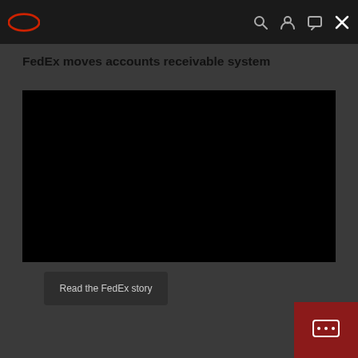FedEx logo and navigation bar with search, account, chat, menu and close icons
FedEx moves accounts receivable system
[Figure (screenshot): Black video player area embedded in the article page]
Read the FedEx story
[Figure (other): Red chat widget button in bottom right corner with ellipsis icon]